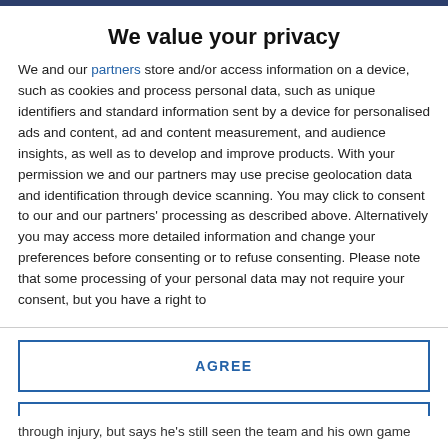We value your privacy
We and our partners store and/or access information on a device, such as cookies and process personal data, such as unique identifiers and standard information sent by a device for personalised ads and content, ad and content measurement, and audience insights, as well as to develop and improve products. With your permission we and our partners may use precise geolocation data and identification through device scanning. You may click to consent to our and our partners' processing as described above. Alternatively you may access more detailed information and change your preferences before consenting or to refuse consenting. Please note that some processing of your personal data may not require your consent, but you have a right to
AGREE
MORE OPTIONS
through injury, but says he's still seen the team and his own game